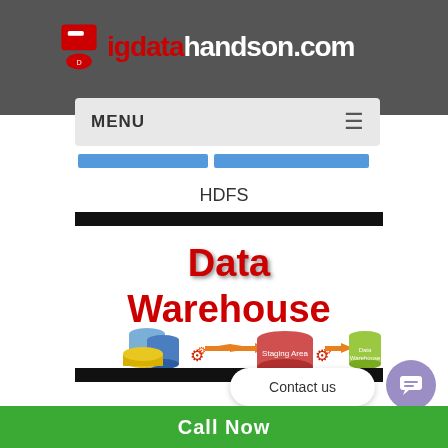bigdatahandson.com
MENU
HDFS
[Figure (infographic): Data Warehouse diagram showing source databases (blue, dark blue, yellow cylinders) flowing through a Staging Area (red cylinder) via orange arrows and gear icons, then to a Data Warehouse (green cylinder). Large red bold text reads 'Data Warehouse' at the top of the diagram.]
Contact us
Call Now